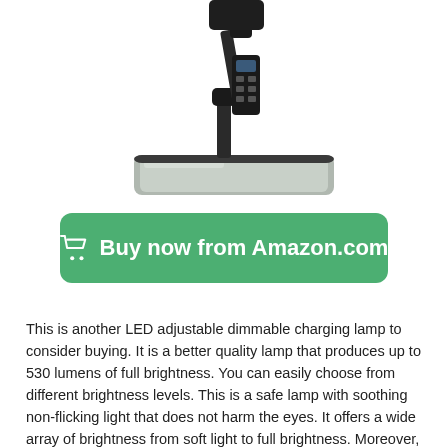[Figure (photo): Product photo of a black LED adjustable desk lamp with a square silver base, articulated arm, and touch control panel, shown on white background cropped at the top]
[Figure (other): Green rounded-rectangle button with shopping cart icon and white bold text reading 'Buy now from Amazon.com']
This is another LED adjustable dimmable charging lamp to consider buying. It is a better quality lamp that produces up to 530 lumens of full brightness. You can easily choose from different brightness levels. This is a safe lamp with soothing non-flicking light that does not harm the eyes. It offers a wide array of brightness from soft light to full brightness. Moreover, the lamp features a built-in USB charger. This allows for the seamless charging of mobile devices as you work. This is a flexible design lamp with touch control settings. The lamp also features a 60-minute timer to automatically shut off. Overall,